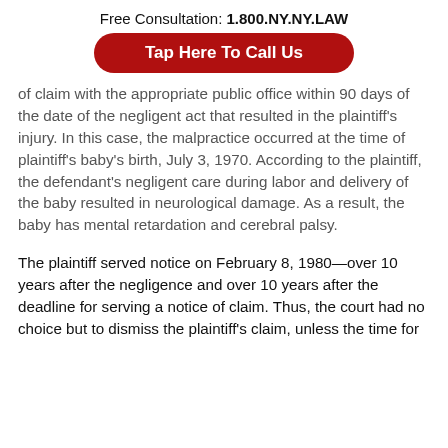Free Consultation: 1.800.NY.NY.LAW
Tap Here To Call Us
of claim with the appropriate public office within 90 days of the date of the negligent act that resulted in the plaintiff's injury. In this case, the malpractice occurred at the time of plaintiff's baby's birth, July 3, 1970. According to the plaintiff, the defendant's negligent care during labor and delivery of the baby resulted in neurological damage. As a result, the baby has mental retardation and cerebral palsy.
The plaintiff served notice on February 8, 1980—over 10 years after the negligence and over 10 years after the deadline for serving a notice of claim. Thus, the court had no choice but to dismiss the plaintiff's claim, unless the time for serving the notice of claim ("tolling") has occurred.